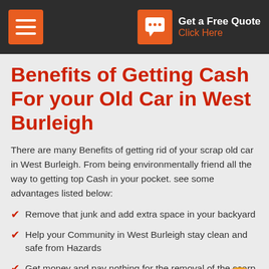Get a Free Quote Click Here
Benefits of Getting Cash For your Old Car in West Burleigh
There are many Benefits of getting rid of your scrap old car in West Burleigh. From being environmentally friend all the way to getting top Cash in your pocket. see some advantages listed below:
Remove that junk and add extra space in your backyard
Help your Community in West Burleigh stay clean and safe from Hazards
Get money and pay nothing for the removal of the scrap car